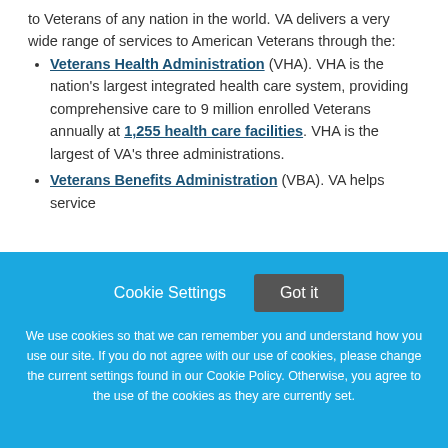to Veterans of any nation in the world. VA delivers a very wide range of services to American Veterans through the:
Veterans Health Administration (VHA). VHA is the nation's largest integrated health care system, providing comprehensive care to 9 million enrolled Veterans annually at 1,255 health care facilities. VHA is the largest of VA's three administrations.
Veterans Benefits Administration (VBA). VA helps service
Cookie Settings  Got it

We use cookies so that we can remember you and understand how you use our site. If you do not agree with our use of cookies, please change the current settings found in our Cookie Policy. Otherwise, you agree to the use of the cookies as they are currently set.